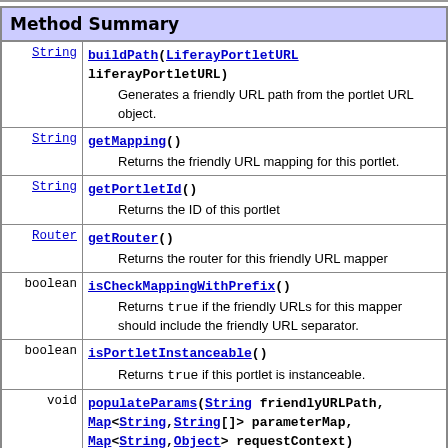| Method Summary |
| --- |
| String | buildPath(LiferayPortletURL liferayPortletURL)
        Generates a friendly URL path from the portlet URL object. |
| String | getMapping()
        Returns the friendly URL mapping for this portlet. |
| String | getPortletId()
        Returns the ID of this portlet |
| Router | getRouter()
        Returns the router for this friendly URL mapper |
| boolean | isCheckMappingWithPrefix()
        Returns true if the friendly URLs for this mapper should include the friendly URL separator. |
| boolean | isPortletInstanceable()
        Returns true if this portlet is instanceable. |
| void | populateParams(String friendlyURLPath, Map<String,String[]> parameterMap, Map<String,Object> requestContext)
        Populates the parameter map with values parsed from the friendly URL path. |
| void | setMapping(String mapping) |